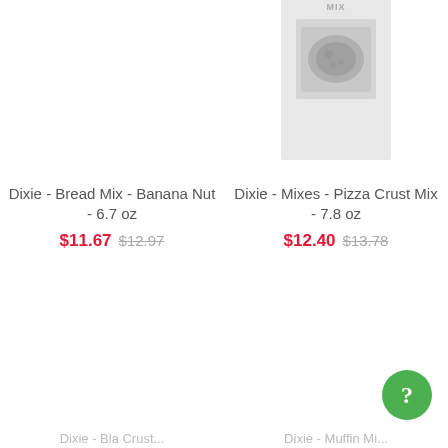[Figure (photo): Product image area for Dixie Bread Mix Banana Nut - blank/empty placeholder]
[Figure (photo): Product package image for Dixie Mixes Pizza Crust Mix showing a gray/white box with PIZZA CRUST MIX text and an image of pizza on the front]
Dixie - Bread Mix - Banana Nut - 6.7 oz
$11.67 $12.97
Dixie - Mixes - Pizza Crust Mix - 7.8 oz
$12.40 $13.78
[Figure (illustration): Green circular help/question mark button in bottom right corner]
Dixie - Bla Crust...
Dixie - Muffin Mi...